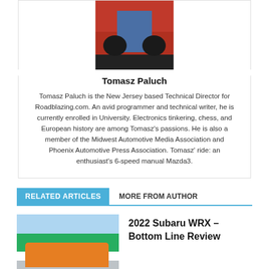[Figure (photo): Author photo of Tomasz Paluch standing in front of a red Ford Mustang]
Tomasz Paluch
Tomasz Paluch is the New Jersey based Technical Director for Roadblazing.com. An avid programmer and technical writer, he is currently enrolled in University. Electronics tinkering, chess, and European history are among Tomasz’s passions. He is also a member of the Midwest Automotive Media Association and Phoenix Automotive Press Association. Tomasz’ ride: an enthusiast’s 6-speed manual Mazda3.
RELATED ARTICLES   MORE FROM AUTHOR
[Figure (photo): Orange Subaru WRX parked outdoors with trees and sky in background]
2022 Subaru WRX – Bottom Line Review